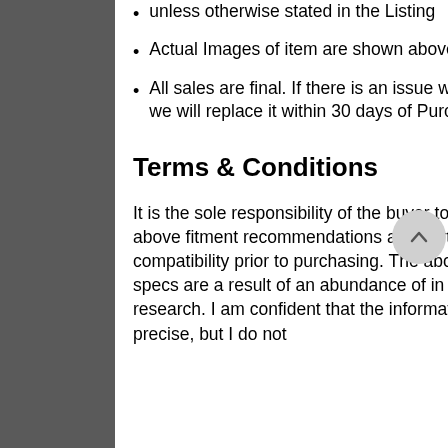unless otherwise stated in the Listing
Actual Images of item are shown above
All sales are final. If there is an issue with the item, we will replace it within 30 days of Purchase.
Terms & Conditions
It is the sole responsibility of the buyer to verify the above fitment recommendations and part number compatibility prior to purchasing. The above fitment specs are a result of an abundance of in depth research. I am confident that the information is very precise, but I do not